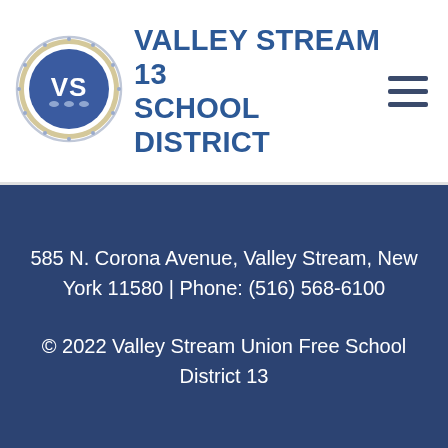[Figure (logo): Valley Stream 13 School District circular logo with VS initials in blue and gold, surrounded by a decorative border with text]
VALLEY STREAM 13 SCHOOL DISTRICT
585 N. Corona Avenue, Valley Stream, New York 11580 | Phone: (516) 568-6100
© 2022 Valley Stream Union Free School District 13